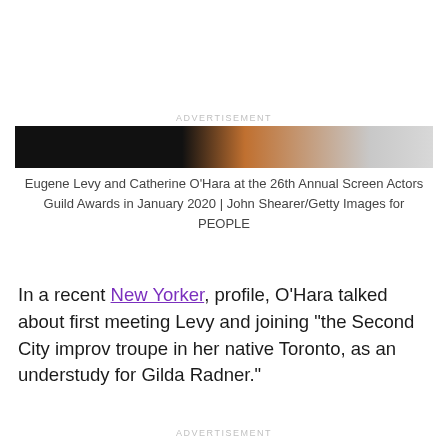ADVERTISEMENT
[Figure (photo): Partial photo strip showing Eugene Levy and Catherine O'Hara at the 26th Annual Screen Actors Guild Awards — dark clothing on left, brown/tan tones in center, light gray on right]
Eugene Levy and Catherine O'Hara at the 26th Annual Screen Actors Guild Awards in January 2020 | John Shearer/Getty Images for PEOPLE
In a recent New Yorker, profile, O'Hara talked about first meeting Levy and joining “the Second City improv troupe in her native Toronto, as an understudy for Gilda Radner.”
ADVERTISEMENT